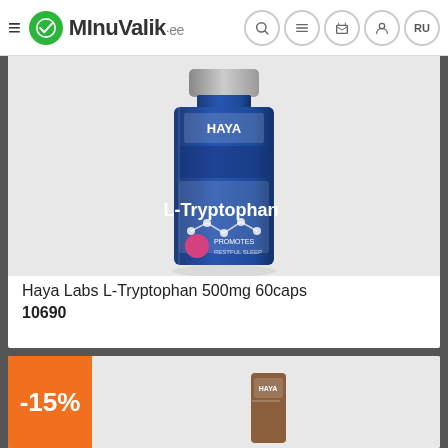MinuValik.ee
[Figure (photo): Haya Labs L-Tryptophan 500mg 60caps product bottle on white background]
Haya Labs L-Tryptophan 500mg 60caps
10690
Eesti
13.50 €
16.87€
-15%